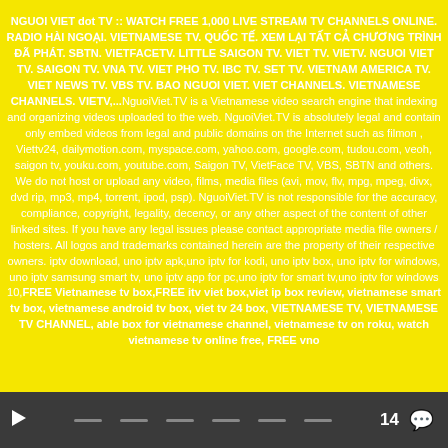NGUOI VIET dot TV :: WATCH FREE 1,000 LIVE STREAM TV CHANNELS ONLINE. RADIO HÀI NGOẠI. VIETNAMESE TV. QUỐC TẾ. XEM LẠI TẤT CẢ CHƯƠNG TRÌNH ĐÃ PHÁT. SBTN. VIETFACETV. LITTLE SAIGON TV. VIET TV. VIETV. NGUOI VIET TV. SAIGON TV. VNA TV. VIET PHO TV. IBC TV. SET TV. VIETNAM AMERICA TV. VIET NEWS TV. VBS TV. BAO NGUOI VIET. VIET CHANNELS. VIETNAMESE CHANNELS. VIETV....NguoiViet.TV is a Vietnamese video search engine that indexing and organizing videos uploaded to the web. NguoiViet.TV is absolutely legal and contain only embed videos from legal and public domains on the Internet such as filmon , Viettv24, dailymotion.com, myspace.com, yahoo.com, google.com, tudou.com, veoh, saigon tv, youku.com, youtube.com, Saigon TV, VietFace TV, VBS, SBTN and others. We do not host or upload any video, films, media files (avi, mov, flv, mpg, mpeg, divx, dvd rip, mp3, mp4, torrent, ipod, psp). NguoiViet.TV is not responsible for the accuracy, compliance, copyright, legality, decency, or any other aspect of the content of other linked sites. If you have any legal issues please contact appropriate media file owners / hosters. All logos and trademarks contained herein are the property of their respective owners. iptv download, uno iptv apk,uno iptv for kodi, uno iptv box, uno iptv for windows, uno iptv samsung smart tv, uno iptv app for pc,uno iptv for smart tv,uno iptv for windows 10,FREE Vietnamese tv box,FREE itv viet box,viet ip box review, vietnamese smart tv box, vietnamese android tv box, viet tv 24 box, VIETNAMESE TV, VIETNAMESE TV CHANNEL, able box for vietnamese channel, vietnamese tv on roku, watch vietnamese tv online free, FREE vno
14